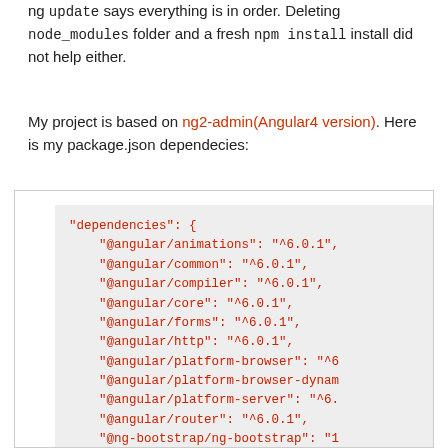ng update says everything is in order. Deleting node_modules folder and a fresh npm install install did not help either.
My project is based on ng2-admin(Angular4 version). Here is my package.json dependecies:
[Figure (screenshot): Code block showing package.json dependencies including @angular/animations, @angular/common, @angular/compiler, @angular/core, @angular/forms, @angular/http, @angular/platform-browser, @angular/platform-browser-dynamic, @angular/platform-server, @angular/router, @ng-bootstrap/ng-bootstrap, @ngx-translate/core, @ngx-translate/http-loader, amcharts3]